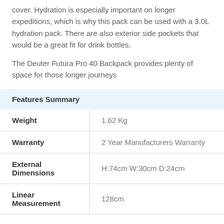cover. Hydration is especially important on longer expeditions, which is why this pack can be used with a 3.0L hydration pack. There are also exterior side pockets that would be a great fit for drink bottles.
The Deuter Futura Pro 40 Backpack provides plenty of space for those longer journeys
Features Summary
| Feature | Value |
| --- | --- |
| Weight | 1.62 Kg |
| Warranty | 2 Year Manufacturers Warranty |
| External Dimensions | H:74cm W:30cm D:24cm |
| Linear Measurement | 128cm |